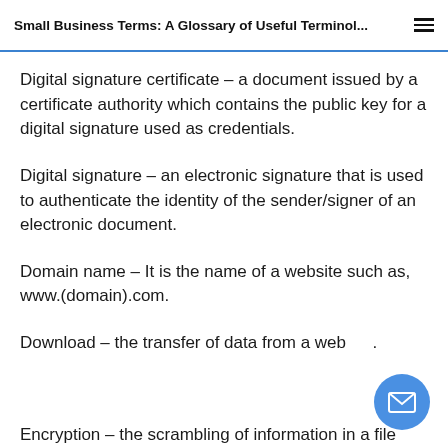Small Business Terms: A Glossary of Useful Terminol...
Digital signature certificate – a document issued by a certificate authority which contains the public key for a digital signature used as credentials.
Digital signature – an electronic signature that is used to authenticate the identity of the sender/signer of an electronic document.
Domain name – It is the name of a website such as, www.(domain).com.
Download – the transfer of data from a web...
Encryption – the scrambling of information in a file...